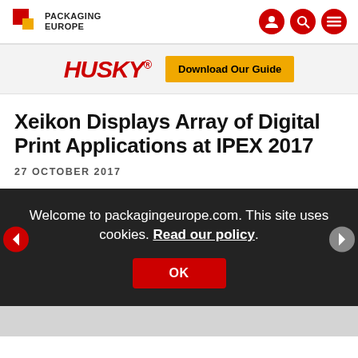PACKAGING EUROPE
[Figure (infographic): Husky advertisement banner with red italic HUSKY text and yellow Download Our Guide button]
Xeikon Displays Array of Digital Print Applications at IPEX 2017
27 OCTOBER 2017
Welcome to packagingeurope.com. This site uses cookies. Read our policy.
OK